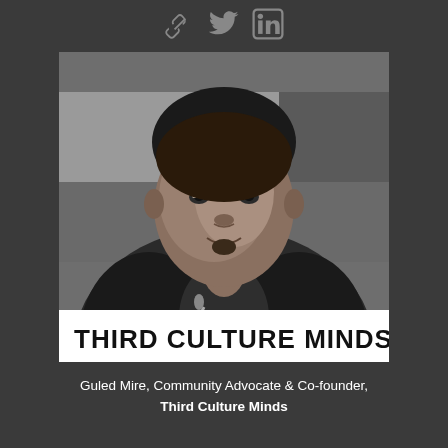[Figure (other): Social media icons: link/chain icon, Twitter bird icon, LinkedIn icon, displayed in gray on dark background]
[Figure (photo): Black and white photograph of Guled Mire, a man smiling, wearing a dark blazer over a patterned shirt, with a microphone in front of him. A sign reading 'THIRD CULTURE MINDS' is visible at the bottom of the image.]
Guled Mire, Community Advocate & Co-founder, Third Culture Minds